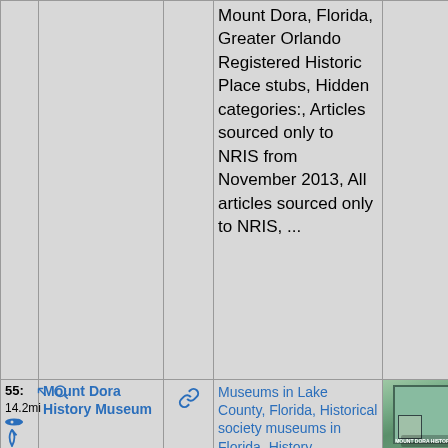| # | Icons | Name | Link | Categories | Photo |
| --- | --- | --- | --- | --- | --- |
|  |  |  |  | Mount Dora, Florida, Greater Orlando Registered Historic Place stubs, Hidden categories:, Articles sourced only to NRIS from November 2013, All articles sourced only to NRIS, ... |  |
| 55: 14.2mi | icons | Mount Dora History Museum | link | Museums in Lake County, Florida, Historical society museums in Florida, History ... | photo |